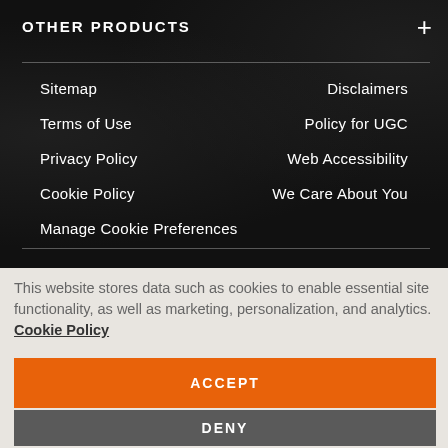OTHER PRODUCTS
Sitemap
Terms of Use
Privacy Policy
Cookie Policy
Manage Cookie Preferences
Disclaimers
Policy for UGC
Web Accessibility
We Care About You
This website stores data such as cookies to enable essential site functionality, as well as marketing, personalization, and analytics. Cookie Policy
ACCEPT
DENY